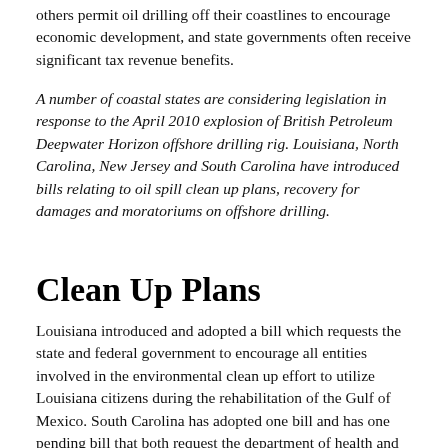others permit oil drilling off their coastlines to encourage economic development, and state governments often receive significant tax revenue benefits.
A number of coastal states are considering legislation in response to the April 2010 explosion of British Petroleum Deepwater Horizon offshore drilling rig. Louisiana, North Carolina, New Jersey and South Carolina have introduced bills relating to oil spill clean up plans, recovery for damages and moratoriums on offshore drilling.
Clean Up Plans
Louisiana introduced and adopted a bill which requests the state and federal government to encourage all entities involved in the environmental clean up effort to utilize Louisiana citizens during the rehabilitation of the Gulf of Mexico. South Carolina has adopted one bill and has one pending bill that both request the department of health and environmental control and the department of natural resources to immediately begin developing a contingency